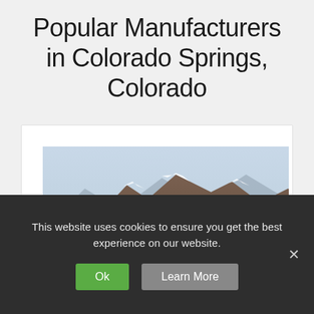Popular Manufacturers in Colorado Springs, Colorado
[Figure (logo): KIT Custom Homebuilders logo with blue square containing white KIT letters, set against a mountain landscape background]
This website uses cookies to ensure you get the best experience on our website.
Ok   Learn More